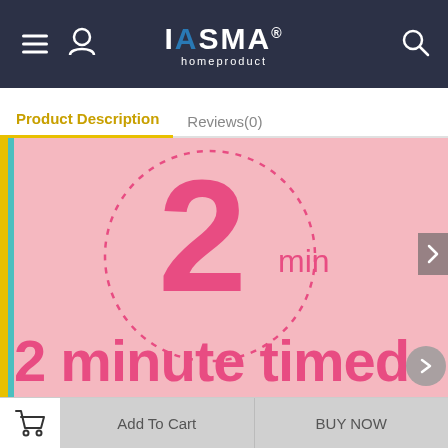IASMA homeproduct
Product Description | Reviews(0)
[Figure (photo): Product promotional image showing '2 min' in a pink dotted circle and the text '2 minute timed' in large pink bold letters on a pink background]
Add To Cart
BUY NOW